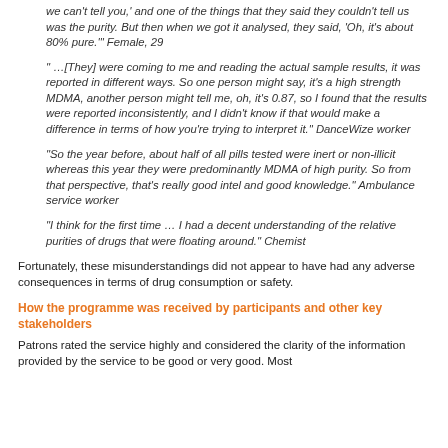we can't tell you,' and one of the things that they said they couldn't tell us was the purity. But then when we got it analysed, they said, 'Oh, it's about 80% pure.'" Female, 29
" …[They] were coming to me and reading the actual sample results, it was reported in different ways. So one person might say, it's a high strength MDMA, another person might tell me, oh, it's 0.87, so I found that the results were reported inconsistently, and I didn't know if that would make a difference in terms of how you're trying to interpret it." DanceWize worker
"So the year before, about half of all pills tested were inert or non-illicit whereas this year they were predominantly MDMA of high purity. So from that perspective, that's really good intel and good knowledge." Ambulance service worker
"I think for the first time … I had a decent understanding of the relative purities of drugs that were floating around." Chemist
Fortunately, these misunderstandings did not appear to have had any adverse consequences in terms of drug consumption or safety.
How the programme was received by participants and other key stakeholders
Patrons rated the service highly and considered the clarity of the information provided by the service to be good or very good. Most